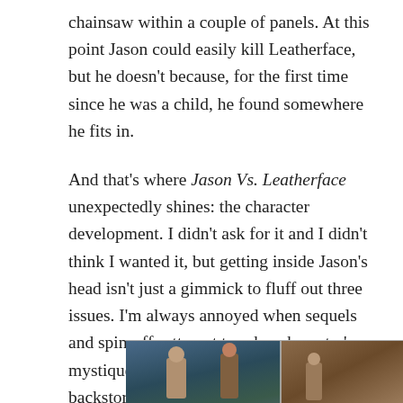chainsaw within a couple of panels. At this point Jason could easily kill Leatherface, but he doesn't because, for the first time since he was a child, he found somewhere he fits in.
And that's where Jason Vs. Leatherface unexpectedly shines: the character development. I didn't ask for it and I didn't think I wanted it, but getting inside Jason's head isn't just a gimmick to fluff out three issues. I'm always annoyed when sequels and spin-offs attempt to rob a character's mystique by explaining too much of their backstory, but it works here. Apparently Jason is a character who could use some fleshing out, which might explain why so many of the sequels grew stale.
[Figure (photo): Two comic book or movie images shown side by side at the bottom of the page. Left image appears to show a blue-toned scene with a figure, right image appears to show a warmer brown-toned scene.]